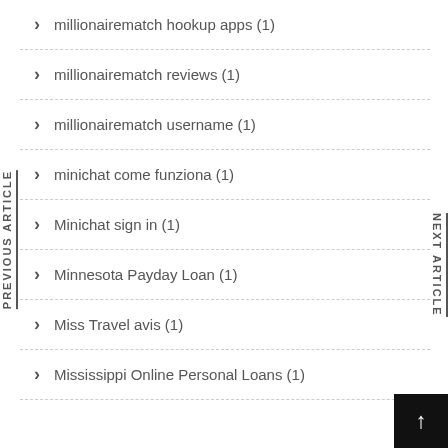millionairematch hookup apps (1)
millionairematch reviews (1)
millionairematch username (1)
minichat come funziona (1)
Minichat sign in (1)
Minnesota Payday Loan (1)
Miss Travel avis (1)
Mississippi Online Personal Loans (1)